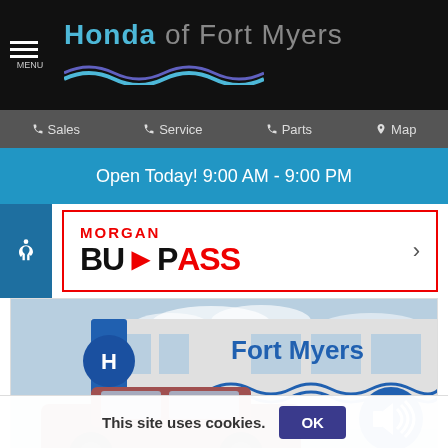Honda of Fort Myers
Sales  Service  Parts  Map
Open Today! 9:00 AM - 9:00 PM
[Figure (logo): Morgan BuyPass logo banner with red border and navigation arrow]
[Figure (photo): Honda of Fort Myers dealership exterior with car in foreground and Fort Myers signage on building]
This site uses cookies. OK